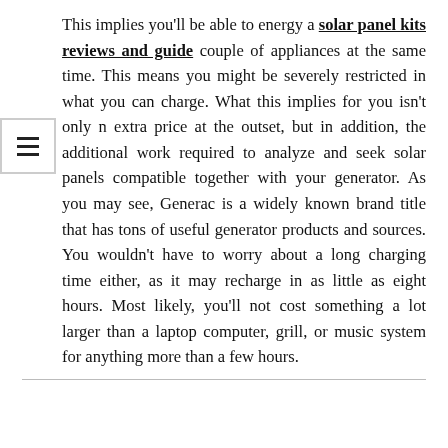This implies you'll be able to energy a solar panel kits reviews and guide couple of appliances at the same time. This means you might be severely restricted in what you can charge. What this implies for you isn't only n extra price at the outset, but in addition, the additional work required to analyze and seek solar panels compatible together with your generator. As you may see, Generac is a widely known brand title that has tons of useful generator products and sources. You wouldn't have to worry about a long charging time either, as it may recharge in as little as eight hours. Most likely, you'll not cost something a lot larger than a laptop computer, grill, or music system for anything more than a few hours.